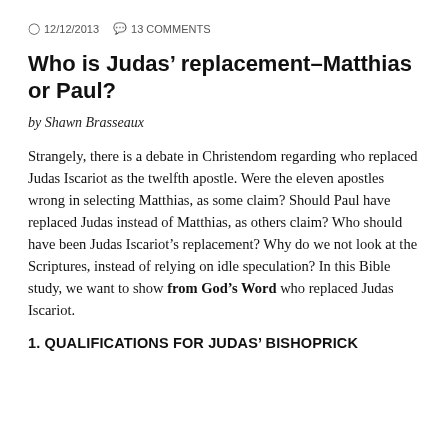12/12/2013  13 COMMENTS
Who is Judas' replacement–Matthias or Paul?
by Shawn Brasseaux
Strangely, there is a debate in Christendom regarding who replaced Judas Iscariot as the twelfth apostle. Were the eleven apostles wrong in selecting Matthias, as some claim? Should Paul have replaced Judas instead of Matthias, as others claim? Who should have been Judas Iscariot's replacement? Why do we not look at the Scriptures, instead of relying on idle speculation? In this Bible study, we want to show from God's Word who replaced Judas Iscariot.
1. QUALIFICATIONS FOR JUDAS' BISHOPRICK